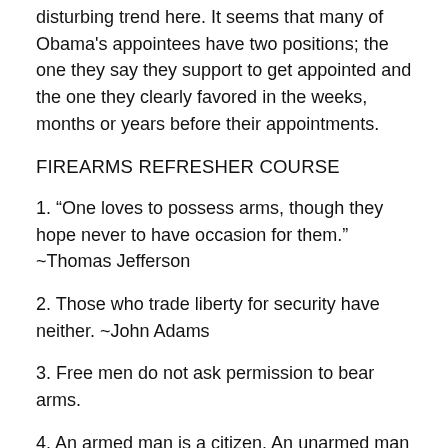disturbing trend here. It seems that many of Obama's appointees have two positions; the one they say they support to get appointed and the one they clearly favored in the weeks, months or years before their appointments.
FIREARMS REFRESHER COURSE
1. “One loves to possess arms, though they hope never to have occasion for them.”  ~Thomas Jefferson
2. Those who trade liberty for security have neither. ~John Adams
3. Free men do not ask permission to bear arms.
4. An armed man is a citizen. An unarmed man is a subject.